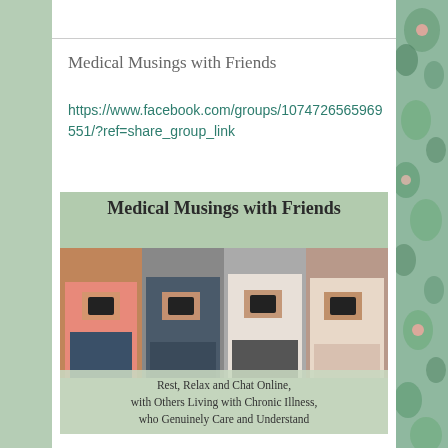Medical Musings with Friends
https://www.facebook.com/groups/1074726565969551/?ref=share_group_link
[Figure (illustration): Banner image for 'Medical Musings with Friends' Facebook group showing four people looking at phones, with sage green background and text: 'Rest, Relax and Chat Online, with Others Living with Chronic Illness, who Genuinely Care and Understand']